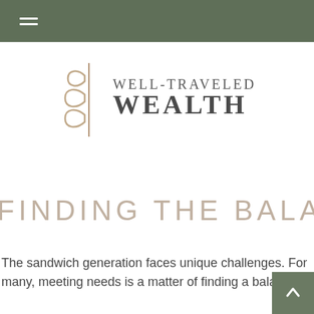Navigation menu header bar with hamburger icon
[Figure (logo): Well-Traveled Wealth logo with stylized leaf/seed motif icon on the left and text 'WELL-TRAVELED WEALTH' on the right]
FINDING THE BALANCE
The sandwich generation faces unique challenges. For many, meeting needs is a matter of finding a balance.